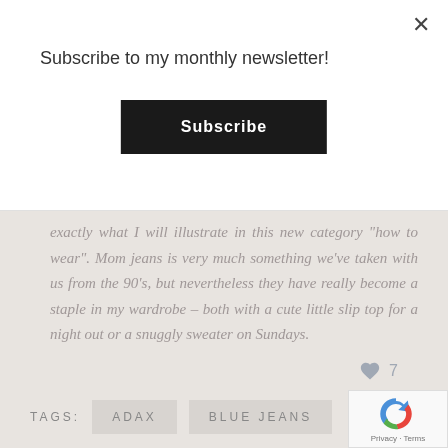Subscribe to my monthly newsletter!
Subscribe
exactly what I will illustrate in this new category "how to wear". Mom jeans is very much something we've taken with us from the 90's, but nevertheless they have really become a staple in my wardrobe – both with a cute little slip top for a night out or a snuggly sweater on Sundays.
♥ 7
TAGS:   ADAX   BLUE JEANS